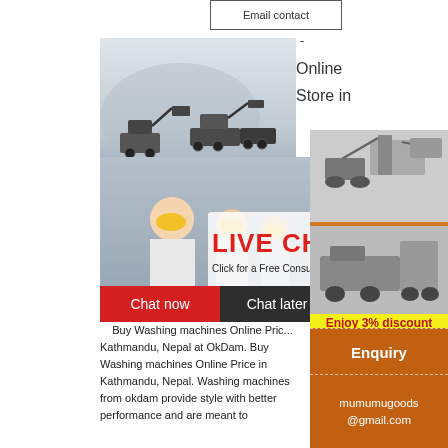Email contact
-
Online
Store in
[Figure (photo): Mining/crushing machinery equipment on grey background with LIMING watermark]
[Figure (photo): Three workers in yellow hard hats with live chat overlay showing LIVE CHAT text and Click for a Free Consultation, with Chat now and Chat later buttons]
Kathmandu, Nepal
Buy Washing machines Online Price in Kathmandu, Nepal at OkDam. Buy Washing machines Online Price in Kathmandu, Nepal. Washing machines from okdam provide style with better performance and are meant to
[Figure (photo): Orange sidebar with two crushing/mining machine photos, Enjoy 3% discount bar, Click to Chat button]
Enquiry
mumumugoods@gmail.com